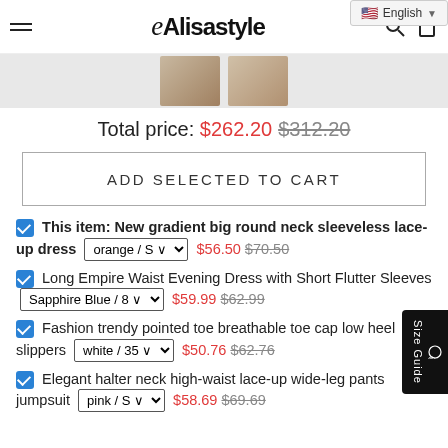Alisastyle
[Figure (photo): Product thumbnail images strip]
Total price: $262.20  $312.20
ADD SELECTED TO CART
This item: New gradient big round neck sleeveless lace-up dress  orange / S  $56.50  $70.50
Long Empire Waist Evening Dress with Short Flutter Sleeves  Sapphire Blue / 8  $59.99  $62.99
Fashion trendy pointed toe breathable toe cap low heel slippers  white / 35  $50.76  $62.76
Elegant halter neck high-waist lace-up wide-leg pants jumpsuit  pink / S  $58.69  $69.69